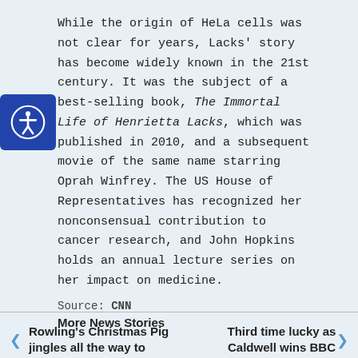While the origin of HeLa cells was not clear for years, Lacks' story has become widely known in the 21st century. It was the subject of a best-selling book, The Immortal Life of Henrietta Lacks, which was published in 2010, and a subsequent movie of the same name starring Oprah Winfrey. The US House of Representatives has recognized her nonconsensual contribution to cancer research, and John Hopkins holds an annual lecture series on her impact on medicine.
Source: CNN
More News Stories
Rowling's Christmas Pig jingles all the way to number one
Third time lucky as Caldwell wins BBC National Short